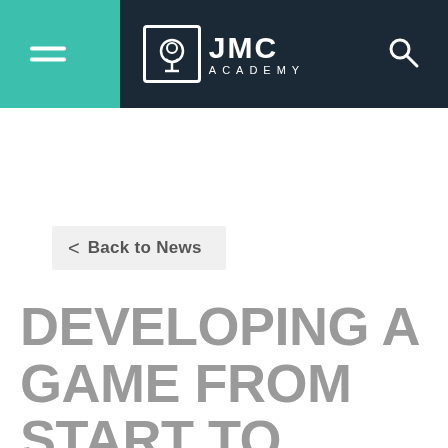[Figure (logo): JMC Academy logo with hamburger menu icon on left and search icon on right, on dark navy header bar with teal accent on left]
< Back to News
DEVELOPING A GAME FROM START TO FINISH REQUIRES A FINE-TUNED PROCESS AND TIME